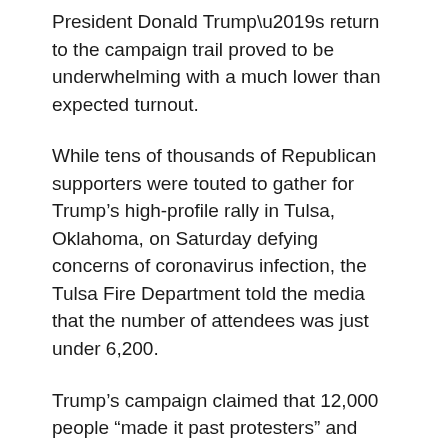President Donald Trump’s return to the campaign trail proved to be underwhelming with a much lower than expected turnout.
While tens of thousands of Republican supporters were touted to gather for Trump’s high-profile rally in Tulsa, Oklahoma, on Saturday defying concerns of coronavirus infection, the Tulsa Fire Department told the media that the number of attendees was just under 6,200.
Trump’s campaign claimed that 12,000 people “made it past protesters” and attended the rally at the Bank of Oklahoma Center.